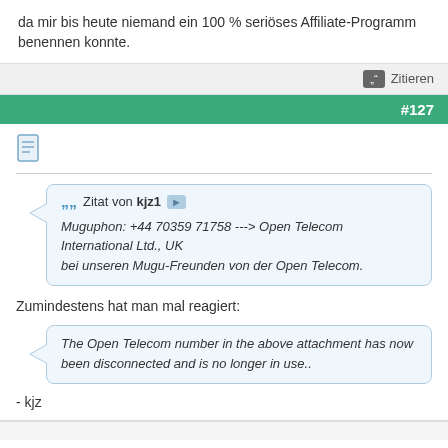da mir bis heute niemand ein 100 % seriöses Affiliate-Programm benennen konnte.
Zitieren
#127
Zitat von kjz1
Muguphon: +44 70359 71758 ---> Open Telecom International Ltd., UK
bei unseren Mugu-Freunden von der Open Telecom.
Zumindestens hat man mal reagiert:
The Open Telecom number in the above attachment has now been disconnected and is no longer in use..
- kjz